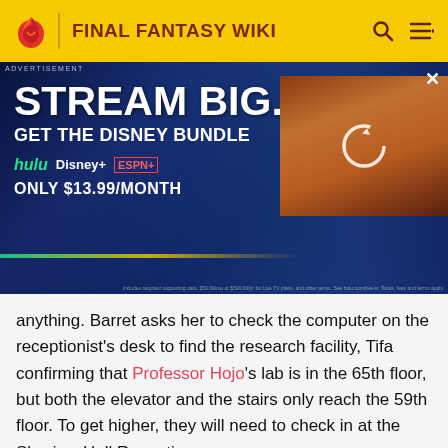FINAL FANTASY WIKI
[Figure (infographic): Advertisement for Disney Bundle: STREAM BIG. GET THE DISNEY BUNDLE. Hulu, Disney+, ESPN+. ONLY $13.99/MONTH. With a video thumbnail showing a loading/refresh icon.]
anything. Barret asks her to check the computer on the receptionist's desk to find the research facility, Tifa confirming that Professor Hojo's lab is in the 65th floor, but both the elevator and the stairs only reach the 59th floor. To get higher, they will need to check in at the Skyview Hall Reception.
[Figure (photo): Screenshot from Final Fantasy game showing two characters in a dark elevator or corridor scene.]